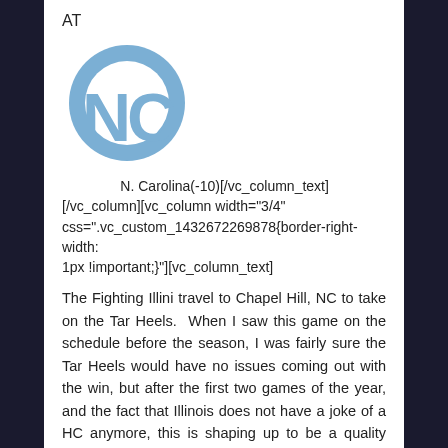AT
[Figure (logo): UNC Tar Heels interlocking NC logo in light blue]
N. Carolina(-10)[/vc_column_text]
[/vc_column][vc_column width="3/4"
css=".vc_custom_1432672269878{border-right-width:
1px !important;}"][vc_column_text]
The Fighting Illini travel to Chapel Hill, NC to take on the Tar Heels.  When I saw this game on the schedule before the season, I was fairly sure the Tar Heels would have no issues coming out with the win, but after the first two games of the year, and the fact that Illinois does not have a joke of a HC anymore, this is shaping up to be a quality game.  The key to this game is no different than any other